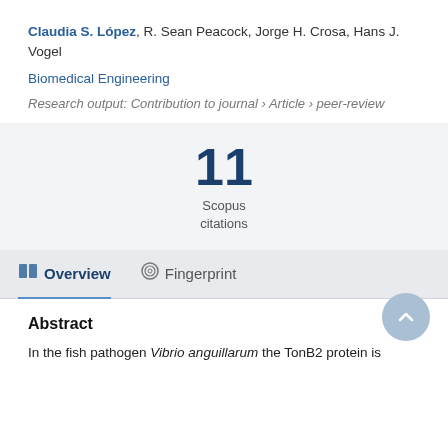Claudia S. López, R. Sean Peacock, Jorge H. Crosa, Hans J. Vogel
Biomedical Engineering
Research output: Contribution to journal › Article › peer-review
11 Scopus citations
Overview   Fingerprint
Abstract
In the fish pathogen Vibrio anguillarum the TonB2 protein is